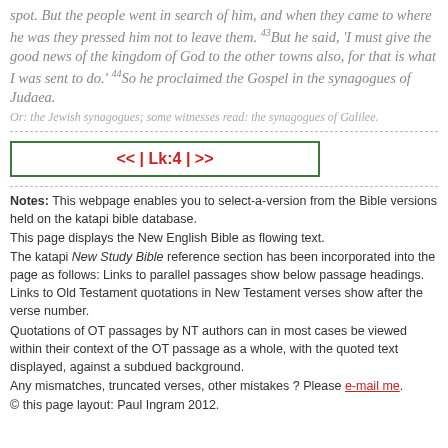spot. But the people went in search of him, and when they came to where he was they pressed him not to leave them. 43But he said, 'I must give the good news of the kingdom of God to the other towns also, for that is what I was sent to do.' 44So he proclaimed the Gospel in the synagogues of Judaea. Or: the Jewish synagogues; some witnesses read: the synagogues of Galilee.
<< | Lk:4 | >>
Notes: This webpage enables you to select-a-version from the Bible versions held on the katapi bible database. This page displays the New English Bible as flowing text. The katapi New Study Bible reference section has been incorporated into the page as follows: Links to parallel passages show below passage headings. Links to Old Testament quotations in New Testament verses show after the verse number. Quotations of OT passages by NT authors can in most cases be viewed within their context of the OT passage as a whole, with the quoted text displayed, against a subdued background. Any mismatches, truncated verses, other mistakes ? Please e-mail me. © this page layout: Paul Ingram 2012.